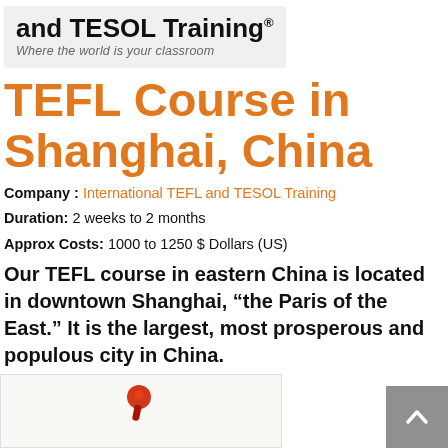and TESOL Training® — Where the world is your classroom
TEFL Course in Shanghai, China
Company : International TEFL and TESOL Training
Duration: 2 weeks to 2 months
Approx Costs: 1000 to 1250 $ Dollars (US)
Our TEFL course in eastern China is located in downtown Shanghai, “the Paris of the East.” It is the largest, most prosperous and populous city in China.
[Figure (photo): Partial view of a note or card with a red pushpin, bottom of page]